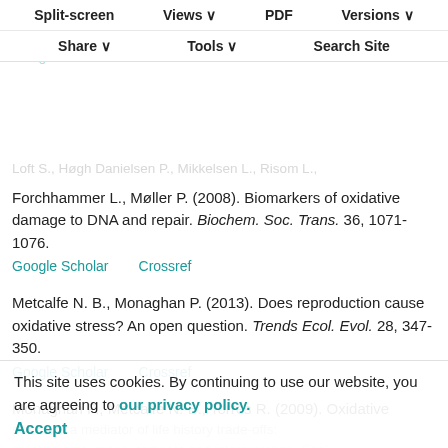metabolic rate in laboratory mice. Physiol. Biochem. Zool. 71, 633–699.
Google Scholar   Crossref
Split-screen   Views   PDF   Versions
Share   Tools   Search Site
Loft S., Høgh Danielsen P., Mikkelsen L., Risom L., Forchhammer L., Møller P. (2008). Biomarkers of oxidative damage to DNA and repair. Biochem. Soc. Trans. 36, 1071-1076.
Google Scholar   Crossref
Metcalfe N. B., Monaghan P. (2013). Does reproduction cause oxidative stress? An open question. Trends Ecol. Evol. 28, 347-350.
Google Scholar   Crossref
Monaghan P., Metcalfe N. B., Torres R. (2009). Oxidative stress as a mediator of life history trade-offs: mechanisms, measurements and interpretation. Ecol. Lett. 12, 75-92.
Google Scholar   Crossref
This site uses cookies. By continuing to use our website, you are agreeing to our privacy policy.
Accept